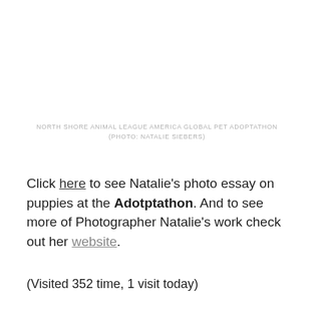NORTH SHORE ANIMAL LEAGUE AMERICA GLOBAL PET ADOPTATHON (PHOTO: NATALIE SIEBERS)
Click here to see Natalie's photo essay on puppies at the Adotptathon. And to see more of Photographer Natalie's work check out her website.
(Visited 352 time, 1 visit today)